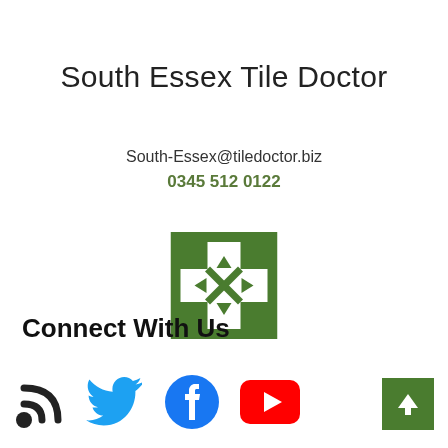South Essex Tile Doctor
South-Essex@tiledoctor.biz
0345 512 0122
[Figure (logo): Green square logo with white plus/cross shape with inward-pointing arrows]
Connect With Us
[Figure (illustration): Social media icons: RSS feed (black), Twitter bird (blue), Facebook circle (blue), YouTube play button (red)]
[Figure (other): Green scroll-to-top button with white upward arrow]